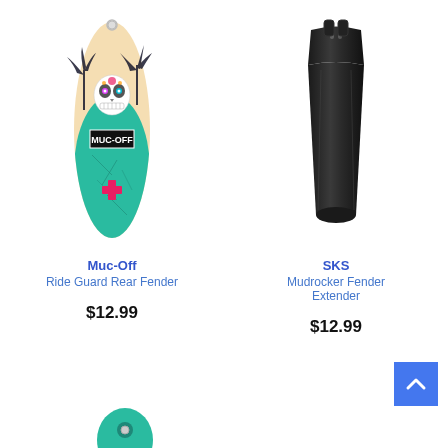[Figure (photo): Muc-Off Ride Guard Rear Fender with sugar skull / day of the dead design, teal and cream colors, palm trees, decorative cross motif]
Muc-Off
Ride Guard Rear Fender
$12.99
[Figure (photo): SKS Mudrocker Fender Extender, solid black rubber/plastic elongated fender shape]
SKS
Mudrocker Fender Extender
$12.99
[Figure (photo): Partial view of a third product at the bottom of the page, partially cropped]
[Figure (screenshot): Back to top button, blue square with white upward chevron arrow]